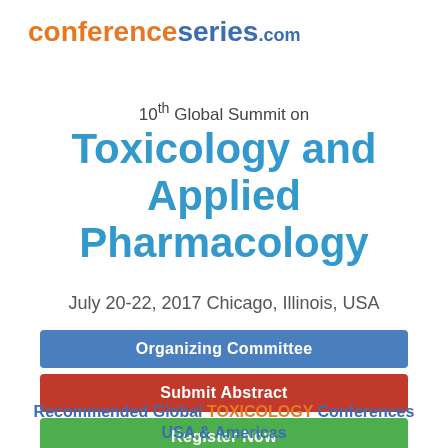[Figure (logo): conferenceseries.com logo with orange 'conference' and blue 'series.com' text]
10th Global Summit on Toxicology and Applied Pharmacology
July 20-22, 2017 Chicago, Illinois, USA
Organizing Committee
Submit Abstract
Register Now
Scientific Program
Recommended Global TOXICOLOGY Conferences USA & Americas